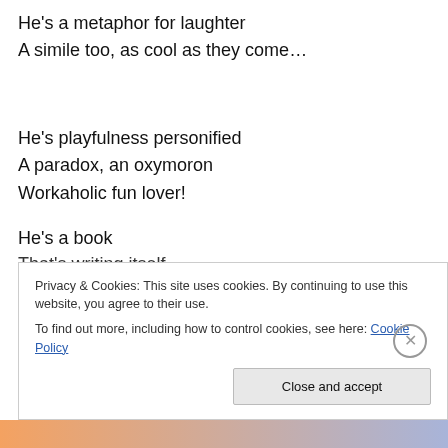He's a metaphor for laughter
A simile too, as cool as they come…
He's playfulness personified
A paradox, an oxymoron
Workaholic fun lover!
He's a book
That's writing itself
Privacy & Cookies: This site uses cookies. By continuing to use this website, you agree to their use.
To find out more, including how to control cookies, see here: Cookie Policy
Close and accept